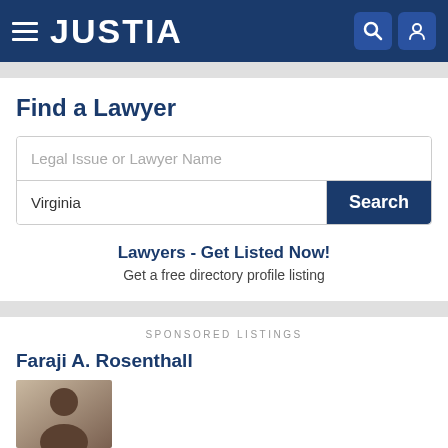JUSTIA
Find a Lawyer
Legal Issue or Lawyer Name
Virginia
Search
Lawyers - Get Listed Now!
Get a free directory profile listing
SPONSORED LISTINGS
Faraji A. Rosenthall
[Figure (photo): Photo of lawyer Faraji A. Rosenthall]